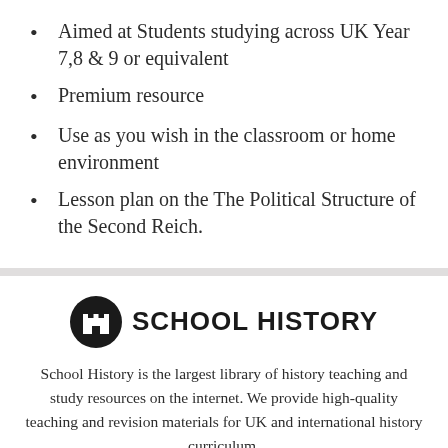Aimed at Students studying across UK Year 7,8 & 9 or equivalent
Premium resource
Use as you wish in the classroom or home environment
Lesson plan on the The Political Structure of the Second Reich.
[Figure (logo): School History logo: black circle with white castle icon, followed by bold uppercase text SCHOOL HISTORY]
School History is the largest library of history teaching and study resources on the internet. We provide high-quality teaching and revision materials for UK and international history curriculum.
Home · About us · Contact us · Privacy · Terms